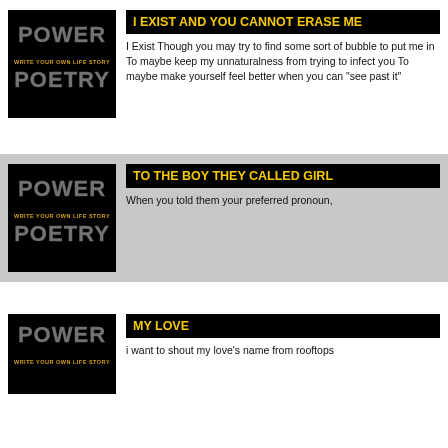[Figure (logo): Power Poetry logo - black background with stylized text POWER and WRITE YOUR OWN LIFE STORY POETRY in yellow and gray]
I EXIST AND YOU CANNOT ERASE ME
I Exist Though you may try to find some sort of bubble to put me in To maybe keep my unnaturalness from trying to infect you To maybe make yourself feel better when you can "see past it"
[Figure (logo): Power Poetry logo - black background with stylized text POWER and WRITE YOUR OWN LIFE STORY POETRY in yellow and gray]
TO THE BOY THEY CALLED GIRL
When you told them your preferred pronoun,
[Figure (logo): Power Poetry logo - black background with stylized text POWER and WRITE YOUR OWN LIFE STORY in yellow and gray (partial)]
MY LOVE
i want to shout my love's name from rooftops